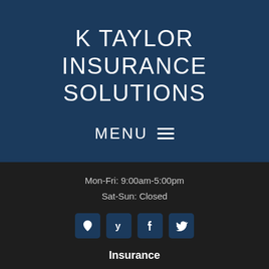K TAYLOR INSURANCE SOLUTIONS
MENU
Mon-Fri: 9:00am-5:00pm
Sat-Sun: Closed
[Figure (other): Four social media icon buttons: location pin, Yelp, Facebook, Twitter]
Insurance
Auto, Home, & Personal Insurance